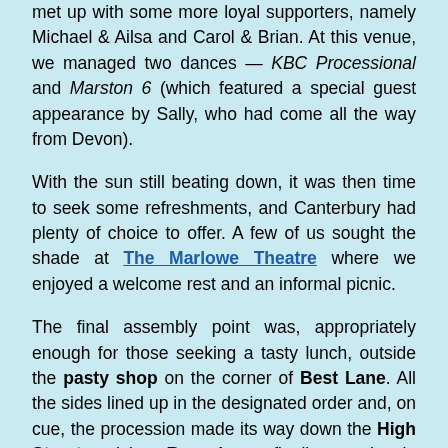met up with some more loyal supporters, namely Michael & Ailsa and Carol & Brian. At this venue, we managed two dances — KBC Processional and Marston 6 (which featured a special guest appearance by Sally, who had come all the way from Devon).
With the sun still beating down, it was then time to seek some refreshments, and Canterbury had plenty of choice to offer. A few of us sought the shade at The Marlowe Theatre where we enjoyed a welcome rest and an informal picnic.
The final assembly point was, appropriately enough for those seeking a tasty lunch, outside the pasty shop on the corner of Best Lane. All the sides lined up in the designated order and, on cue, the procession made its way down the High Street and into Rose Lane, finally stopping in Rose Square.
The final event of the day was another show dance by each side, plus a very impressive massed Cotswold rendition of Balance the Straw (Field Town). There was